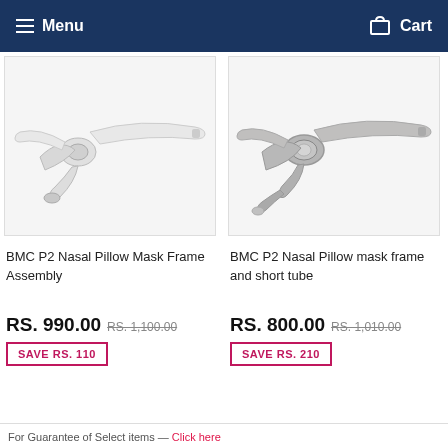Menu  Cart
[Figure (photo): BMC P2 Nasal Pillow Mask Frame Assembly - white/light grey medical device with nasal pillows and headgear arms]
BMC P2 Nasal Pillow Mask Frame Assembly
RS. 990.00 RS. 1,100.00
SAVE RS. 110
[Figure (photo): BMC P2 Nasal Pillow mask frame and short tube - grey/dark grey medical device with nasal pillows and headgear arms]
BMC P2 Nasal Pillow mask frame and short tube
RS. 800.00 RS. 1,010.00
SAVE RS. 210
For Guarantee of Select items — Click here